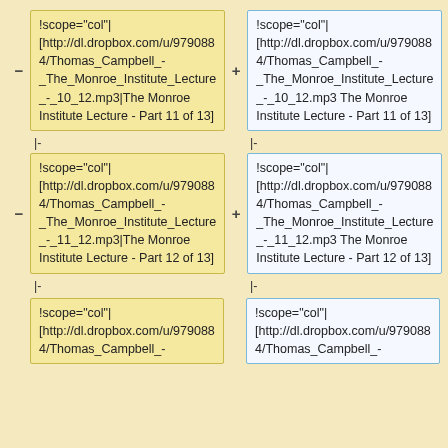!scope="col"| [http://dl.dropbox.com/u/9790884/Thomas_Campbell_-_The_Monroe_Institute_Lecture_-_10_12.mp3|The Monroe Institute Lecture - Part 11 of 13]
!scope="col"| [http://dl.dropbox.com/u/9790884/Thomas_Campbell_-_The_Monroe_Institute_Lecture_-_10_12.mp3 The Monroe Institute Lecture - Part 11 of 13]
|-
|-
!scope="col"| [http://dl.dropbox.com/u/9790884/Thomas_Campbell_-_The_Monroe_Institute_Lecture_-_11_12.mp3|The Monroe Institute Lecture - Part 12 of 13]
!scope="col"| [http://dl.dropbox.com/u/9790884/Thomas_Campbell_-_The_Monroe_Institute_Lecture_-_11_12.mp3 The Monroe Institute Lecture - Part 12 of 13]
|-
|-
!scope="col"| [http://dl.dropbox.com/u/9790884/Thomas_Campbell_-
!scope="col"| [http://dl.dropbox.com/u/9790884/Thomas_Campbell_-